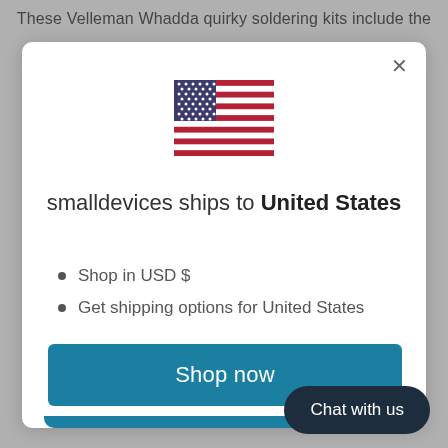These Velleman Whadda quirky soldering kits include the
[Figure (illustration): US flag emoji/icon centered in modal]
smalldevices ships to United States
Shop in USD $
Get shipping options for United States
Shop now
Change shipping country
Chat with us